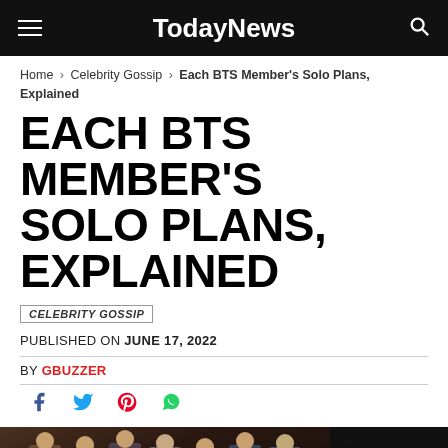TodayNews
Home › Celebrity Gossip › Each BTS Member's Solo Plans, Explained
EACH BTS MEMBER'S SOLO PLANS, EXPLAINED
CELEBRITY GOSSIP
PUBLISHED ON JUNE 17, 2022
BY GBUZZER
[Figure (photo): BTS group photo at Grammy Awards red carpet, seven members posing together in suits]